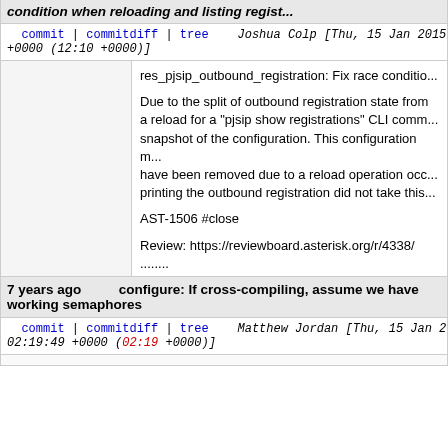condition when reloading and listing regist...
commit | commitdiff | tree   Joshua Colp [Thu, 15 Jan 2015 12:10:22 +0000 (12:10 +0000)]
res_pjsip_outbound_registration: Fix race conditio...

Due to the split of outbound registration state from a reload for a "pjsip show registrations" CLI comm... snapshot of the configuration. This configuration m... have been removed due to a reload operation occ... printing the outbound registration did not take this...

AST-1506 #close

Review: https://reviewboard.asterisk.org/r/4338/
........

Merged revisions 430664 from http://svn.asterisk.o...

git-svn-id: https://origsvn.digium.com/svn/asterisk/trunk@... 6c06-0410-ace0-fbb531ad65f3
7 years ago   configure: If cross-compiling, assume we have working semaphores
commit | commitdiff | tree   Matthew Jordan [Thu, 15 Jan 2015 02:19:49 +0000 (02:19 +0000)]